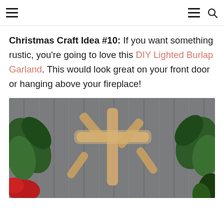navigation header with hamburger menus and search icon
Christmas Craft Idea #10: If you want something rustic, you're going to love this DIY Lighted Burlap Garland. This would look great on your front door or hanging above your fireplace!
[Figure (photo): Photo of a DIY lighted burlap garland decoration with a snowflake/branch shape made from burlap on a rustic wood plank background, with green leaves and red elements visible on the sides.]